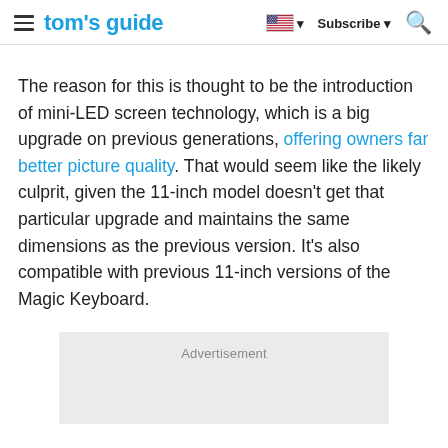tom's guide — Subscribe
The reason for this is thought to be the introduction of mini-LED screen technology, which is a big upgrade on previous generations, offering owners far better picture quality. That would seem like the likely culprit, given the 11-inch model doesn't get that particular upgrade and maintains the same dimensions as the previous version. It's also compatible with previous 11-inch versions of the Magic Keyboard.
Advertisement